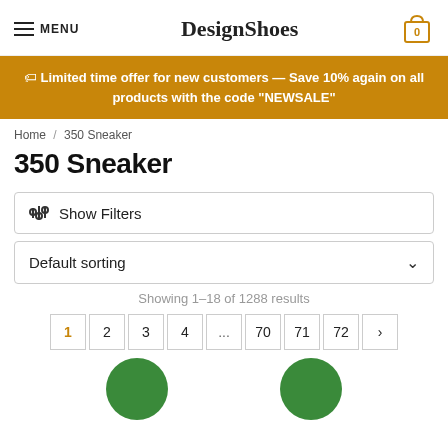DesignShoes — MENU header with cart icon showing 0
🏷 Limited time offer for new customers — Save 10% again on all products with the code "NEWSALE"
Home / 350 Sneaker
350 Sneaker
Show Filters
Default sorting
Showing 1–18 of 1288 results
1 2 3 4 ... 70 71 72 >